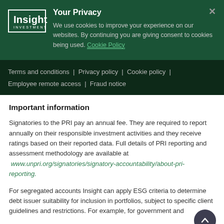[Figure (logo): Insight Investment logo — white text on dark green background]
Your Privacy
We use cookies to improve your experience on our websites. By continuing you are giving consent to cookies being used. Cookie Policy
Terms and conditions | Privacy policy | Cookie policy | Employee remote access | Fraud notice
Important information
Signatories to the PRI pay an annual fee. They are required to report annually on their responsible investment activities and they receive ratings based on their reported data. Full details of PRI reporting and assessment methodology are available at www.unpri.org/signatories/signatory-accountability/about-pri-reporting.
For segregated accounts Insight can apply ESG criteria to determine debt issuer suitability for inclusion in portfolios, subject to specific client guidelines and restrictions. For example, for government and